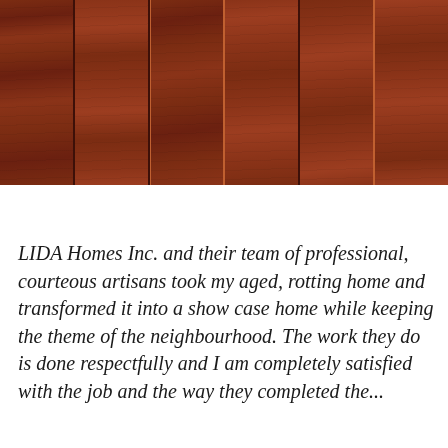[Figure (photo): Close-up photograph of dark reddish-brown wood paneling with vertical panels separated by narrow grooves and trim]
LIDA Homes Inc. and their team of professional, courteous artisans took my aged, rotting home and transformed it into a show case home while keeping the theme of the neighbourhood. The work they do is done respectfully and I am completely satisfied with the job and the way they completed the...